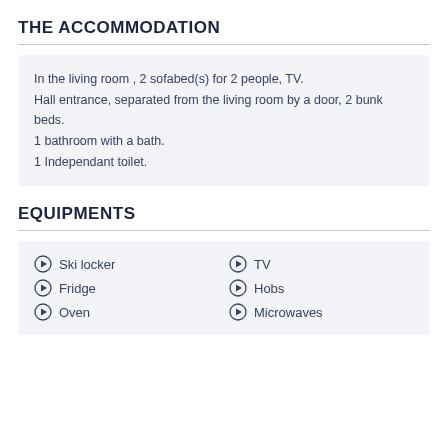THE ACCOMMODATION
In the living room , 2 sofabed(s) for 2 people, TV. Hall entrance, separated from the living room by a door, 2 bunk beds.
1 bathroom with a bath.
1 Independant toilet.
EQUIPMENTS
Ski locker
TV
Fridge
Hobs
Oven
Microwaves